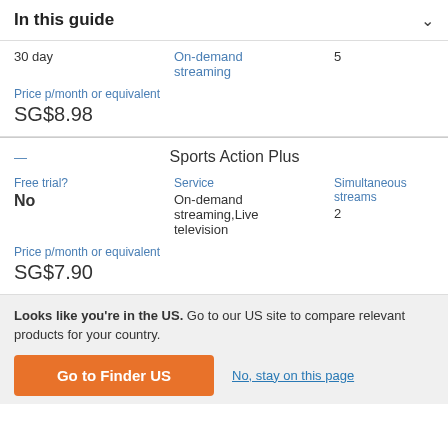In this guide
| Free trial? | Service | Simultaneous streams |
| --- | --- | --- |
| 30 day | On-demand streaming | 5 |
Price p/month or equivalent
SG$8.98
Sports Action Plus
| Free trial? | Service | Simultaneous streams |
| --- | --- | --- |
| No | On-demand streaming,Live television | 2 |
Price p/month or equivalent
SG$7.90
Looks like you're in the US. Go to our US site to compare relevant products for your country.
Go to Finder US
No, stay on this page